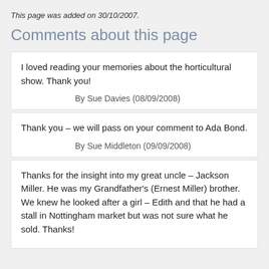This page was added on 30/10/2007.
Comments about this page
I loved reading your memories about the horticultural show. Thank you!
By Sue Davies (08/09/2008)
Thank you – we will pass on your comment to Ada Bond.
By Sue Middleton (09/09/2008)
Thanks for the insight into my great uncle – Jackson Miller. He was my Grandfather's (Ernest Miller) brother. We knew he looked after a girl – Edith and that he had a stall in Nottingham market but was not sure what he sold. Thanks!